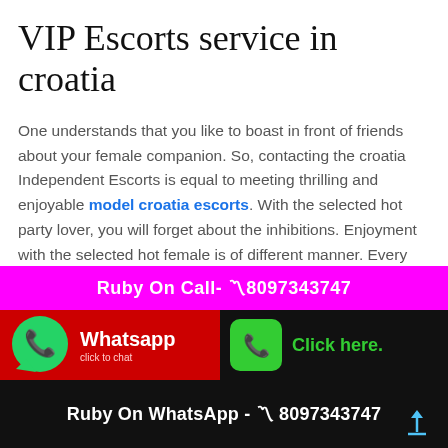VIP Escorts service in croatia
One understands that you like to boast in front of friends about your female companion. So, contacting the croatia Independent Escorts is equal to meeting thrilling and enjoyable model croatia escorts. With the selected hot party lover, you will forget about the inhibitions. Enjoyment with the selected hot female is of different manner. Every minute she will keep you pumped-up. Irrespective of whether, you are drinking, eating, gossiping or dancing. The selected party escort will add a sparkling element in your sex date. Please believe me that you will not get such type
Ruby On Call- 〽8097343747
Whatsapp click to chat
Click here.
Ruby On WhatsApp - 〽 8097343747